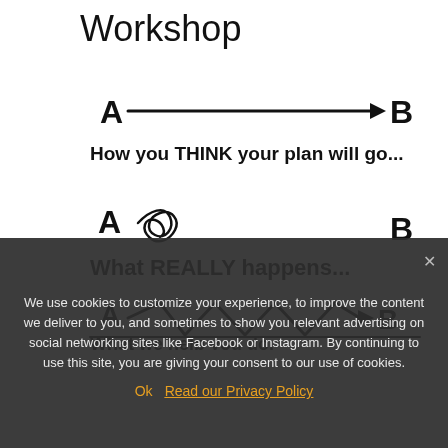Workshop
[Figure (infographic): Three diagrams showing: 1) A straight arrow from A to B labeled 'How you THINK your plan will go...'; 2) A chaotic tangled mess near A with B far away labeled 'What REALLY happens...'; 3) A zigzag path from A to B with ups and downs labeled 'What we help you do.']
We use cookies to customize your experience, to improve the content we deliver to you, and sometimes to show you relevant advertising on social networking sites like Facebook or Instagram. By continuing to use this site, you are giving your consent to our use of cookies.
Ok   Read our Privacy Policy